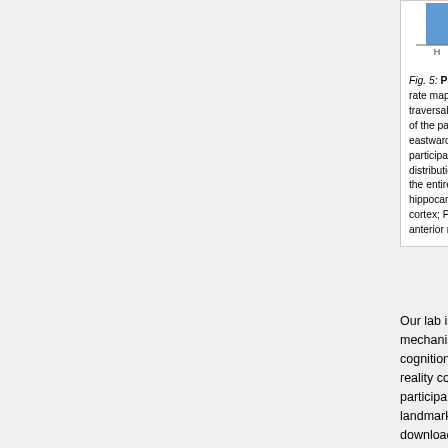[Figure (other): Top portion of a bar chart showing regional distribution of place-responsive cells, with x-axis labels H, A, EC, PHG, Ant and x-axis title 'Region', partially cropped at top]
Fig. 5: Place responsive cells. (a) Firing-rate maps for a cell responsive to northward traversals located in the hippocampus of one of the participants. (b) A cell responsive to eastward traversals recorded from a participant's entorhinal cortex. (c) Regional distribution of place-responsive cells across the entire data set of 371 single units (H, hippocampus; A, amygdala; EC, entorhinal cortex; PHG, parahippocampal gyrus; Ant, anterior medial temporal lobe).
Our lab is also interested in the neural mechanisms underlying human spatial cognition. In this work, we use virtual reality computer games in which participants learn the locations of landmarks in virtual environments. To download a sample of a YellowCab